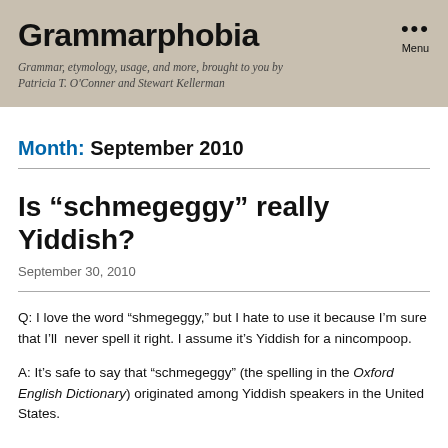Grammarphobia
Grammar, etymology, usage, and more, brought to you by Patricia T. O'Conner and Stewart Kellerman
Month: September 2010
Is “schmegeggy” really Yiddish?
September 30, 2010
Q: I love the word “shmegeggy,” but I hate to use it because I’m sure that I’ll never spell it right. I assume it’s Yiddish for a nincompoop.
A: It’s safe to say that “schmegeggy” (the spelling in the Oxford English Dictionary) originated among Yiddish speakers in the United States.